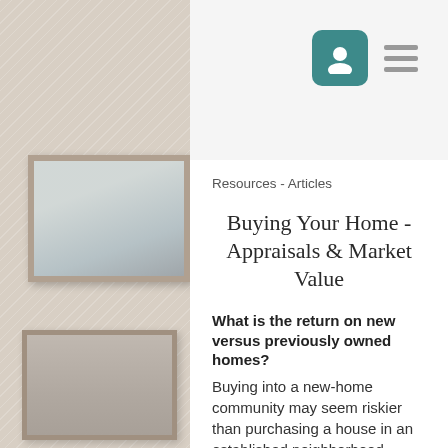[Figure (screenshot): Mobile website screenshot showing navigation bar with user profile icon (teal rounded square with person silhouette) and hamburger menu icon on a light gray background.]
Resources - Articles
Buying Your Home - Appraisals & Market Value
What is the return on new versus previously owned homes?
Buying into a new-home community may seem riskier than purchasing a house in an established neighborhood,